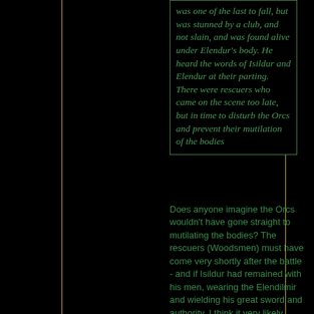was one of the last to fall, but was stunned by a club, and not slain, and was found alive under Elendur's body. He heard the words of Isildur and Elendur at their parting. There were rescuers who came on the scene too late, but in time to disturb the Orcs and prevent their mutilation of the bodies
Does anyone imagine the Orcs wouldn't have gone straight to mutilating the bodies? The rescuers (Woodsmen) must have come very shortly after the battle - and if Isildur had remained with his men, wearing the Elendilmir and wielding his great sword and authority, I think it very likely